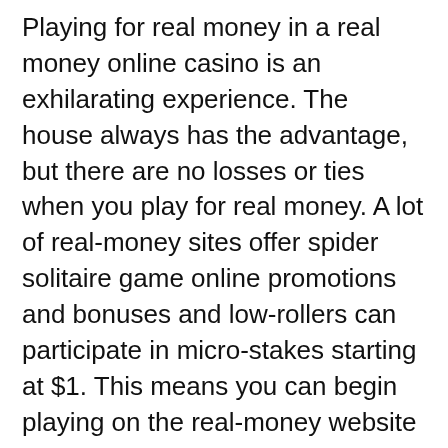Playing for real money in a real money online casino is an exhilarating experience. The house always has the advantage, but there are no losses or ties when you play for real money. A lot of real-money sites offer spider solitaire game online promotions and bonuses and low-rollers can participate in micro-stakes starting at $1. This means you can begin playing on the real-money website with just a small deposit. You can use the bonus to play at higher stakes games.
The most appealing aspect of online real money casinos is the numerous benefits you can enjoy from playing and winning real cash. You can win big without having to leave your home. You can enjoy your time playing at a real-money online casino even while at the go. The withdrawal process is quick and secure and you can afford to pay for your rent